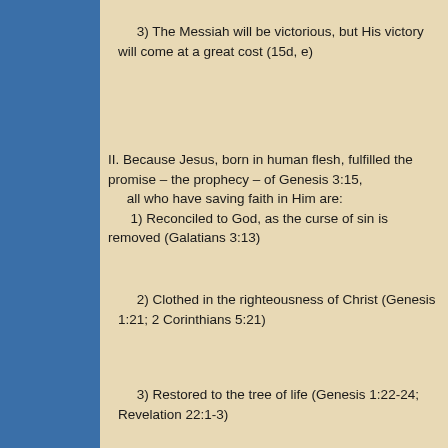3) The Messiah will be victorious, but His victory will come at a great cost (15d, e)
II. Because Jesus, born in human flesh, fulfilled the promise – the prophecy – of Genesis 3:15,
    all who have saving faith in Him are:
    1) Reconciled to God, as the curse of sin is removed (Galatians 3:13)
2) Clothed in the righteousness of Christ (Genesis 1:21; 2 Corinthians 5:21)
3) Restored to the tree of life (Genesis 1:22-24; Revelation 22:1-3)